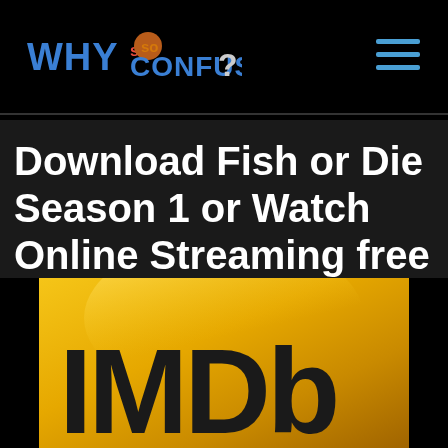WHYsoCONFUSED? [logo] [hamburger menu]
Download Fish or Die Season 1 or Watch Online Streaming free of full episodes in HD
[Figure (logo): IMDb logo on golden/yellow gradient background, partially visible at bottom of page]